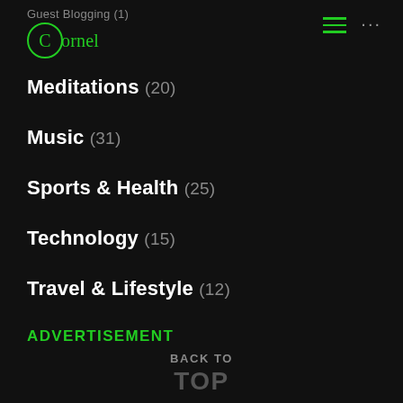Cornel (logo with circle C)
Guest Blogging (1)
Meditations (20)
Music (31)
Sports & Health (25)
Technology (15)
Travel & Lifestyle (12)
ADVERTISEMENT
BACK TO TOP